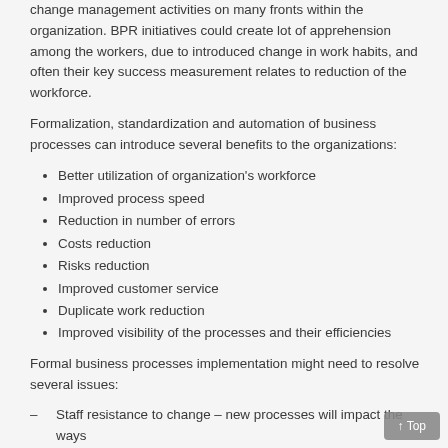change management activities on many fronts within the organization. BPR initiatives could create lot of apprehension among the workers, due to introduced change in work habits, and often their key success measurement relates to reduction of the workforce.
Formalization, standardization and automation of business processes can introduce several benefits to the organizations:
Better utilization of organization's workforce
Improved process speed
Reduction in number of errors
Costs reduction
Risks reduction
Improved customer service
Duplicate work reduction
Improved visibility of the processes and their efficiencies
Formal business processes implementation might need to resolve several issues:
– Staff resistance to change – new processes will impact the ways